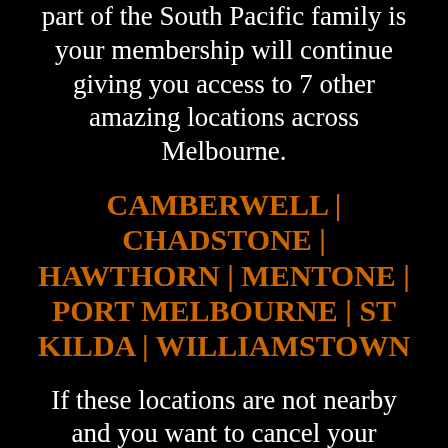part of the South Pacific family is your membership will continue giving you access to 7 other amazing locations across Melbourne.
CAMBERWELL | CHADSTONE | HAWTHORN | MENTONE | PORT MELBOURNE | ST KILDA | WILLIAMSTOWN
If these locations are not nearby and you want to cancel your membership,